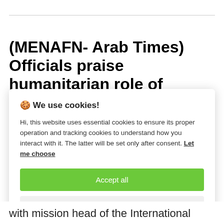(MENAFN- Arab Times) Officials praise humanitarian role of Kuwait
🍪 We use cookies!
Hi, this website uses essential cookies to ensure its proper operation and tracking cookies to understand how you interact with it. The latter will be set only after consent. Let me choose
[Accept all] [Reject all]
with mission head of the International